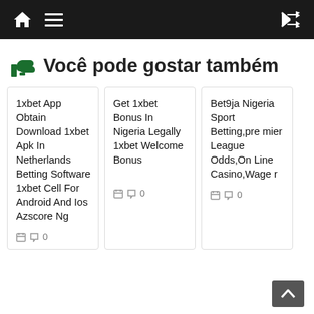Navigation bar with home, menu, and shuffle icons
👍 Você pode gostar também
1xbet App Obtain Download 1xbet Apk In Netherlands Betting Software 1xbet Cell For Android And Ios Azscore Ng
Get 1xbet Bonus In Nigeria Legally 1xbet Welcome Bonus
Bet9ja Nigeria Sport Betting,premier League Odds,On Line Casino,Wager